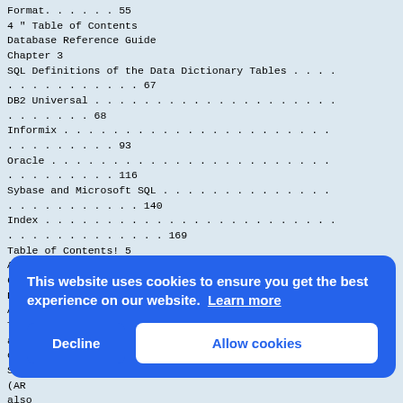Format. . . . . . 55
4 " Table of Contents
Database Reference Guide
Chapter 3
SQL Definitions of the Data Dictionary Tables . . . .
. . . . . . . . . . . 67
DB2 Universal . . . . . . . . . . . . . . . . . . . .
. . . . . . . 68
Informix . . . . . . . . . . . . . . . . . . . . . .
. . . . . . . . . 93
Oracle . . . . . . . . . . . . . . . . . . . . . . .
. . . . . . . . . 116
Sybase and Microsoft SQL . . . . . . . . . . . . . .
. . . . . . . . . . . 140
Index . . . . . . . . . . . . . . . . . . . . . . . .
. . . . . . . . . . . . . 169
Table of Contents! 5
Action Request System 5.1
6 " Table of Contents
Preface
Audience
This
are
over
Syst
(AR
also
info
resp
and
This
administration and familiarity
with current Microsoft Windows platforms.
This website uses cookies to ensure you get the best experience on our website. Learn more